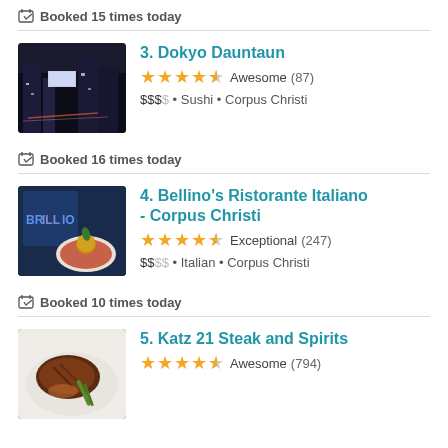Booked 15 times today
[Figure (photo): Night street scene photo for Dokyo Dauntaun restaurant]
3. Dokyo Dauntaun
★★★★½ Awesome (87)
$$$$• Sushi • Corpus Christi
Booked 16 times today
[Figure (photo): Interior/food photo for Bellino's Ristorante Italiano]
4. Bellino's Ristorante Italiano - Corpus Christi
★★★★½ Exceptional (247)
$$$$• Italian • Corpus Christi
Booked 10 times today
[Figure (photo): Food photo for Katz 21 Steak and Spirits]
5. Katz 21 Steak and Spirits
★★★★½ Awesome (794)